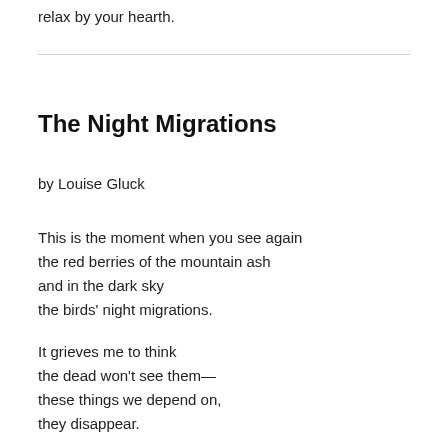relax by your hearth.
The Night Migrations
by Louise Gluck
This is the moment when you see again
the red berries of the mountain ash
and in the dark sky
the birds' night migrations.
It grieves me to think
the dead won't see them—
these things we depend on,
they disappear.